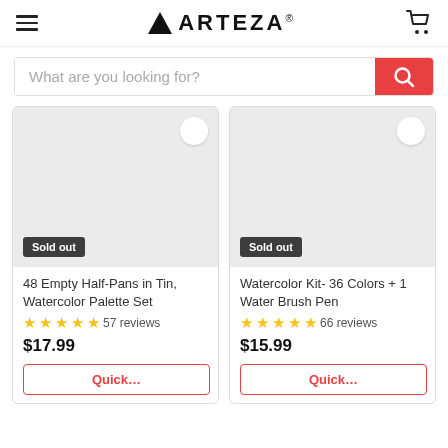ARTEZA
What are you looking for?
[Figure (screenshot): Product card: 48 Empty Half-Pans in Tin, Watercolor Palette Set - Sold out badge, 5 stars, 57 reviews, $17.99]
48 Empty Half-Pans in Tin, Watercolor Palette Set
57 reviews
$17.99
[Figure (screenshot): Product card: Watercolor Kit- 36 Colors + 1 Water Brush Pen - Sold out badge, 5 stars, 66 reviews, $15.99]
Watercolor Kit- 36 Colors + 1 Water Brush Pen
66 reviews
$15.99